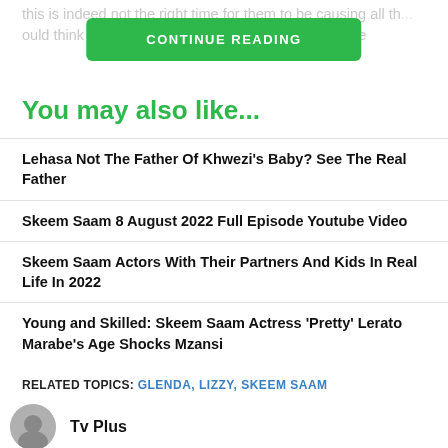this is indeed not the right time for them to be causing all th... ould think of now is to ta... relationship and also make
[Figure (other): Green button labeled CONTINUE READING]
You may also like...
Lehasa Not The Father Of Khwezi's Baby? See The Real Father
Skeem Saam 8 August 2022 Full Episode Youtube Video
Skeem Saam Actors With Their Partners And Kids In Real Life In 2022
Young and Skilled: Skeem Saam Actress 'Pretty' Lerato Marabe's Age Shocks Mzansi
RELATED TOPICS: GLENDA, LIZZY, SKEEM SAAM
Tv Plus